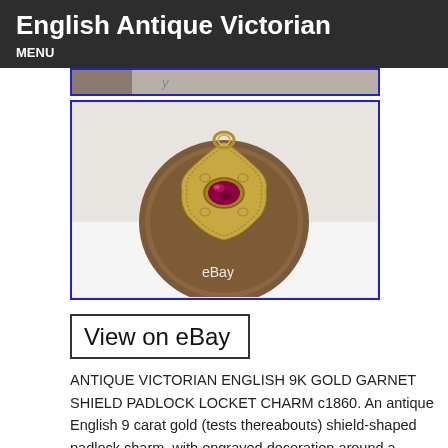English Antique Victorian
MENU
[Figure (photo): Partial top strip of an antique jewelry item photo with blue border]
[Figure (photo): Victorian English 9K gold garnet shield padlock locket charm c1860, shown on a coin for scale. The pendant has a decorative engraved gold star/shield shape with a foiled oval garnet cabochon in the center and a ring bail at top. eBay watermark visible.]
View on eBay
ANTIQUE VICTORIAN ENGLISH 9K GOLD GARNET SHIELD PADLOCK LOCKET CHARM c1860. An antique English 9 carat gold (tests thereabouts) shield-shaped padlock charm, with engraved decoration around a foiled garnet